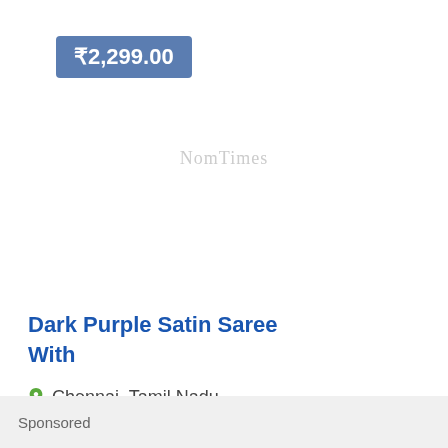₹2,299.00
NomTimes
Dark Purple Satin Saree With
Chennai, Tamil Nadu
More Clothes for sale ›
Sponsored